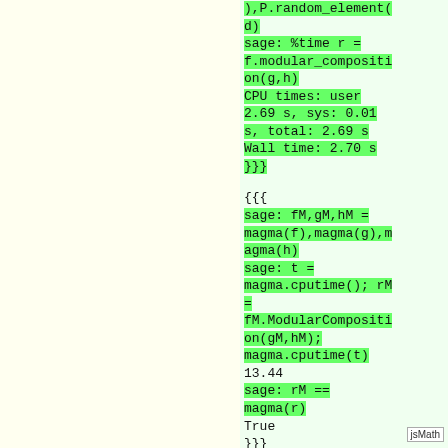),P.random_element(d)
sage: %time r = f.modular_composition(g,h)
CPU times: user 2.69 s, sys: 0.01 s, total: 2.69 s
Wall time: 2.70 s
}}}

{{{
sage: fM,gM,hM = magma(f),magma(g),magma(h)
sage: t = magma.cputime(); rM = fM.ModularComposition(gM,hM); magma.cputime(t)
13.44
sage: rM == magma(r)
True
}}}